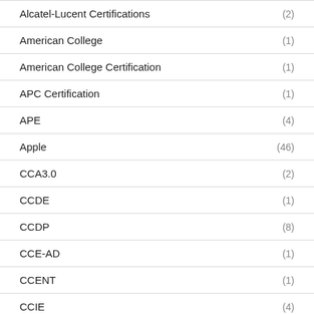Alcatel-Lucent Certifications (2)
American College (1)
American College Certification (1)
APC Certification (1)
APE (4)
Apple (46)
CCA3.0 (2)
CCDE (1)
CCDP (8)
CCE-AD (1)
CCENT (1)
CCIE (4)